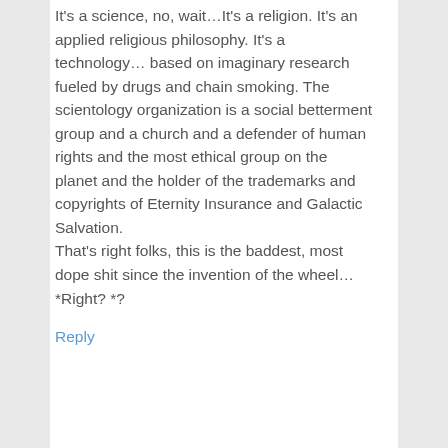It's a science, no, wait…It's a religion. It's an applied religious philosophy. It's a technology… based on imaginary research fueled by drugs and chain smoking. The scientology organization is a social betterment group and a church and a defender of human rights and the most ethical group on the planet and the holder of the trademarks and copyrights of Eternity Insurance and Galactic Salvation.
That's right folks, this is the baddest, most dope shit since the invention of the wheel…
*Right? *?
Reply